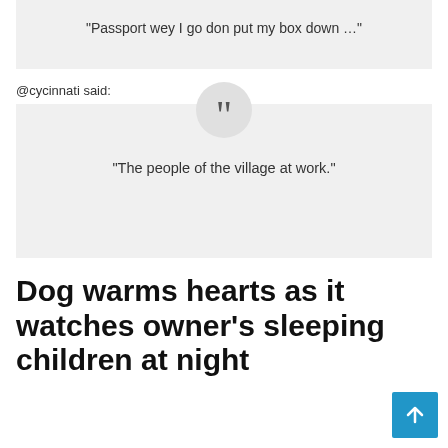“Passport wey I go don put my box down …”
@cycinnati said:
“The people of the village at work.”
Dog warms hearts as it watches owner’s sleeping children at night